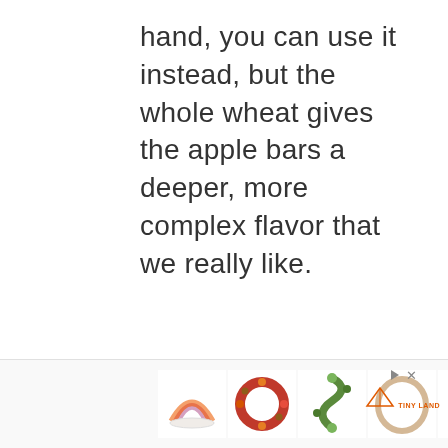hand, you can use it instead, but the whole wheat gives the apple bars a deeper, more complex flavor that we really like.
[Figure (other): Advertisement banner at bottom of page showing 5 product thumbnail images (rainbow dish, autumn wreath, garland, hoop, figurines) with play/close controls and Tiny Land logo]